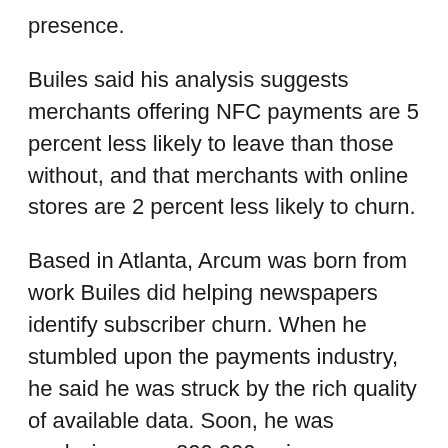presence.
Builes said his analysis suggests merchants offering NFC payments are 5 percent less likely to leave than those without, and that merchants with online stores are 2 percent less likely to churn.
Based in Atlanta, Arcum was born from work Builes did helping newspapers identify subscriber churn. When he stumbled upon the payments industry, he said he was struck by the rich quality of available data. Soon, he was analyzing over 200,000 unique merchants across five different payment companies to create an algorithm that could predict merchant churn. It took about two years to research and perfect the algorithm. "This is a complex problem," he said.
When Arcum works with an ISO, it collects data